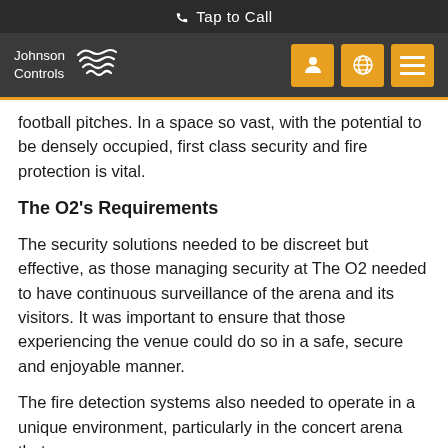Tap to Call
[Figure (logo): Johnson Controls logo with wavy lines graphic and three orange navigation icon buttons (person, globe, menu)]
football pitches. In a space so vast, with the potential to be densely occupied, first class security and fire protection is vital.
The O2's Requirements
The security solutions needed to be discreet but effective, as those managing security at The O2 needed to have continuous surveillance of the arena and its visitors. It was important to ensure that those experiencing the venue could do so in a safe, secure and enjoyable manner.
The fire detection systems also needed to operate in a unique environment, particularly in the concert arena that